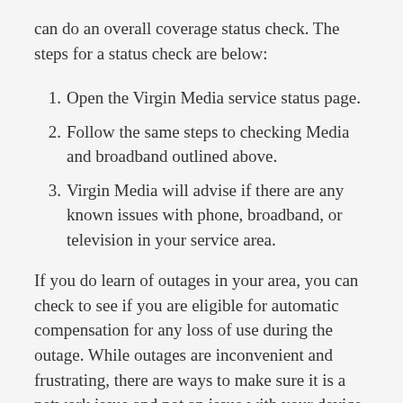can do an overall coverage status check. The steps for a status check are below:
Open the Virgin Media service status page.
Follow the same steps to checking Media and broadband outlined above.
Virgin Media will advise if there are any known issues with phone, broadband, or television in your service area.
If you do learn of outages in your area, you can check to see if you are eligible for automatic compensation for any loss of use during the outage. While outages are inconvenient and frustrating, there are ways to make sure it is a network issue and not an issue with your device. If you are still experiencing an outage